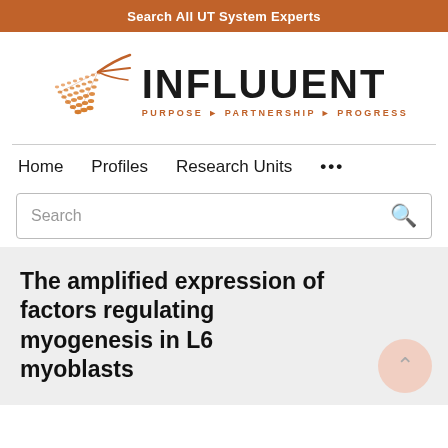Search All UT System Experts
[Figure (logo): Influuent logo with orange geometric bird/triangle shape and text 'INFLUUENT PURPOSE PARTNERSHIP PROGRESS']
Home   Profiles   Research Units   ...
Search
The amplified expression of factors regulating myogenesis in L6 myoblasts